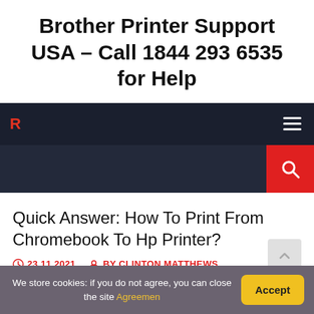Brother Printer Support USA – Call 1844 293 6535 for Help
[Figure (screenshot): Website navigation bar with dark background, hamburger menu icon on right, and red letter logo on left]
[Figure (screenshot): Dark search bar section with red search icon box on right]
Quick Answer: How To Print From Chromebook To Hp Printer?
23.11.2021   BY CLINTON MATTHEWS
We store cookies: if you do not agree, you can close the site Agreemen